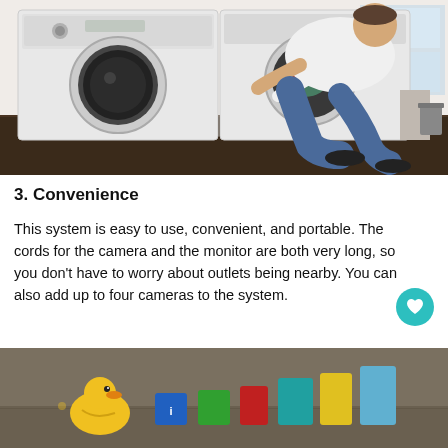[Figure (photo): Person kneeling on dark wood floor loading laundry into a front-load dryer/washer, white appliances against white wall]
3. Convenience
This system is easy to use, convenient, and portable. The cords for the camera and the monitor are both very long, so you don't have to worry about outlets being nearby. You can also add up to four cameras to the system.
[Figure (photo): Colorful children's toys arranged on a gray/brown surface, including a yellow duck figure and various block-like shapes in blue, green, red, and yellow]